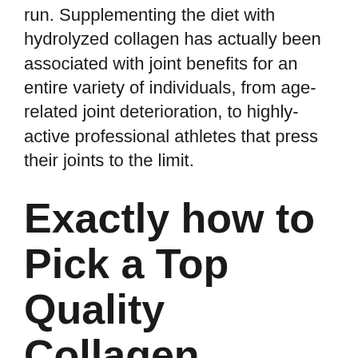run. Supplementing the diet with hydrolyzed collagen has actually been associated with joint benefits for an entire variety of individuals, from age-related joint deterioration, to highly-active professional athletes that press their joints to the limit.
Exactly how to Pick a Top Quality Collagen Supplement
This short article will certainly assist you decide which collagen supplement is best for you.
There are various types of collagen